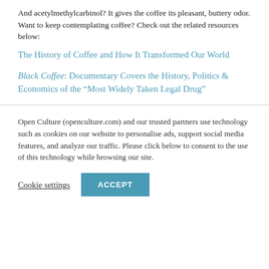And acetylmethylcarbinol? It gives the coffee its pleasant, buttery odor. Want to keep contemplating coffee? Check out the related resources below:
The History of Coffee and How It Transformed Our World
Black Coffee: Documentary Covers the History, Politics & Economics of the “Most Widely Taken Legal Drug”
Open Culture (openculture.com) and our trusted partners use technology such as cookies on our website to personalise ads, support social media features, and analyze our traffic. Please click below to consent to the use of this technology while browsing our site.
Cookie settings
ACCEPT